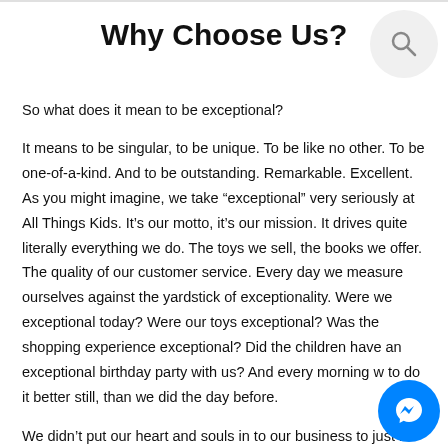Why Choose Us?
So what does it mean to be exceptional?
It means to be singular, to be unique. To be like no other. To be one-of-a-kind. And to be outstanding. Remarkable. Excellent. As you might imagine, we take “exceptional” very seriously at All Things Kids. It’s our motto, it’s our mission. It drives quite literally everything we do. The toys we sell, the books we offer. The quality of our customer service. Every day we measure ourselves against the yardstick of exceptionality. Were we exceptional today? Were our toys exceptional? Was the shopping experience exceptional? Did the children have an exceptional birthday party with us? And every morning we strive to do it better still, than we did the day before.
We didn’t put our heart and souls in to our business to just be